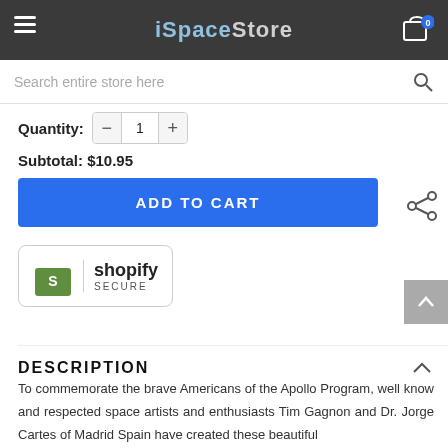iSpaceStore
Search entire store here
Quantity: 1
Subtotal: $10.95
ADD TO CART
[Figure (logo): Shopify Secure badge with green shopping bag logo]
DESCRIPTION
To commemorate the brave Americans of the Apollo Program, well know and respected space artists and enthusiasts Tim Gagnon and Dr. Jorge Cartes of Madrid Spain have created these beautiful